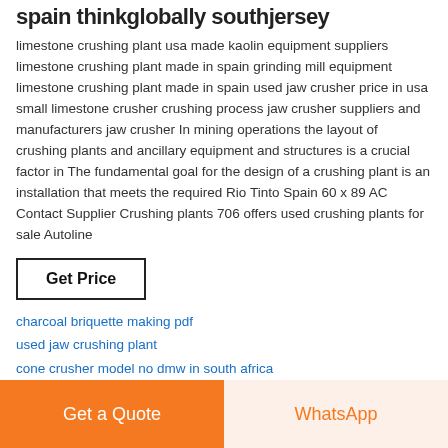spain thinkglobally southjersey
limestone crushing plant usa made kaolin equipment suppliers limestone crushing plant made in spain grinding mill equipment limestone crushing plant made in spain used jaw crusher price in usa small limestone crusher crushing process jaw crusher suppliers and manufacturers jaw crusher In mining operations the layout of crushing plants and ancillary equipment and structures is a crucial factor in The fundamental goal for the design of a crushing plant is an installation that meets the required Rio Tinto Spain 60 x 89 AC Contact Supplier Crushing plants 706 offers used crushing plants for sale Autoline
Get Price
charcoal briquette making pdf
used jaw crushing plant
cone crusher model no dmw in south africa
crusher plant design manual
mining chalk process
Get a Quote
WhatsApp